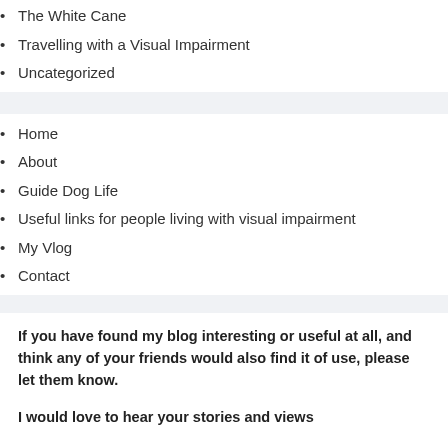The White Cane
Travelling with a Visual Impairment
Uncategorized
Home
About
Guide Dog Life
Useful links for people living with visual impairment
My Vlog
Contact
If you have found my blog interesting or useful at all, and think any of your friends would also find it of use, please let them know.
I would love to hear your stories and views
Terry